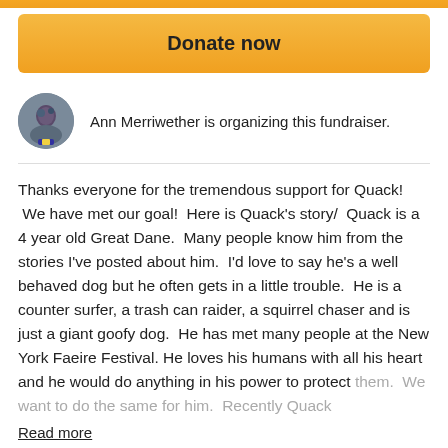[Figure (other): Orange gradient top bar strip]
[Figure (other): Donate now button, orange rounded rectangle with bold black text]
Ann Merriwether is organizing this fundraiser.
Thanks everyone for the tremendous support for Quack!  We have met our goal!  Here is Quack's story/  Quack is a 4 year old Great Dane.  Many people know him from the stories I've posted about him.  I'd love to say he's a well behaved dog but he often gets in a little trouble.  He is a counter surfer, a trash can raider, a squirrel chaser and is just a giant goofy dog.  He has met many people at the New York Faeire Festival. He loves his humans with all his heart and he would do anything in his power to protect them.  We want to do the same for him.  Recently Quack
Read more